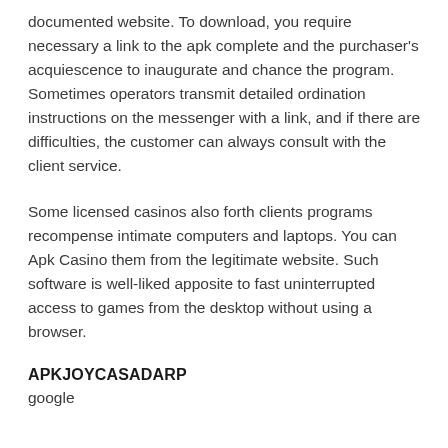documented website. To download, you require necessary a link to the apk complete and the purchaser's acquiescence to inaugurate and chance the program. Sometimes operators transmit detailed ordination instructions on the messenger with a link, and if there are difficulties, the customer can always consult with the client service.
Some licensed casinos also forth clients programs recompense intimate computers and laptops. You can Apk Casino them from the legitimate website. Such software is well-liked apposite to fast uninterrupted access to games from the desktop without using a browser.
APKJOYCASADARP
google